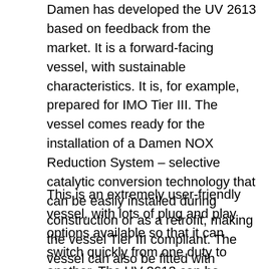Damen has developed the UV 2613 based on feedback from the market. It is a forward-facing vessel, with sustainable characteristics. It is, for example, prepared for IMO Tier III. The vessel comes ready for the installation of a Damen NOX Reduction System – selective catalytic conversion technology that can be easily installed during construction or as a retrofit, making the vessel Tier III compliant. The vessel can also be fitted with battery packs for silent shift operations.
This is an extremely user-friendly vessel, with lots of plug and play options available so that it can switch quickly from one duty to another. The UV 2613 can be installed with DP1, a multiple mooring system and a towing winch for example. It can even be fitted with a ramp in order to perform ferry